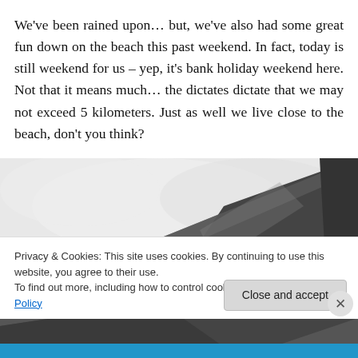We've been rained upon… but, we've also had some great fun down on the beach this past weekend. In fact, today is still weekend for us – yep, it's bank holiday weekend here. Not that it means much… the dictates dictate that we may not exceed 5 kilometers. Just as well we live close to the beach, don't you think?
[Figure (photo): Black and white photo showing a rocky coastal cliff or hillside against a pale overcast sky]
Privacy & Cookies: This site uses cookies. By continuing to use this website, you agree to their use.
To find out more, including how to control cookies, see here: Cookie Policy